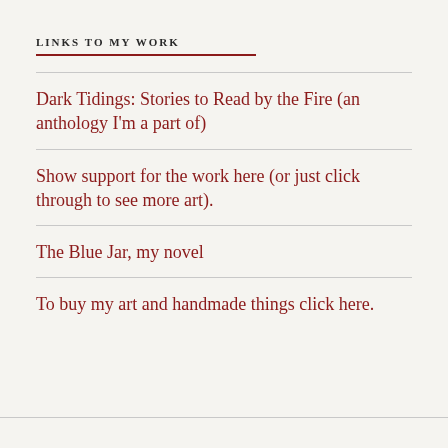LINKS TO MY WORK
Dark Tidings: Stories to Read by the Fire (an anthology I'm a part of)
Show support for the work here (or just click through to see more art).
The Blue Jar, my novel
To buy my art and handmade things click here.